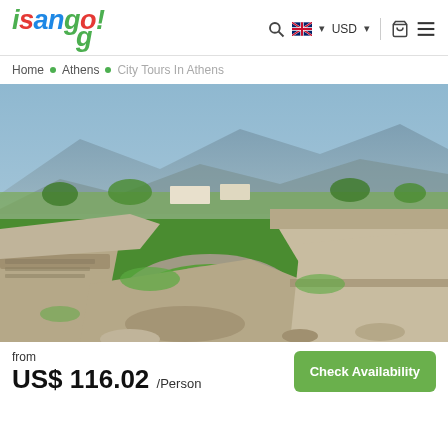isango! [logo] — Search | EN (UK flag) v | USD v | Cart | Menu
Home • Athens • City Tours In Athens
[Figure (photo): Aerial view of ancient Greek ruins (Mycenae) with circular stone structures, stone walls, green grass, and mountains in the background]
from
US$ 116.02 /Person
Check Availability